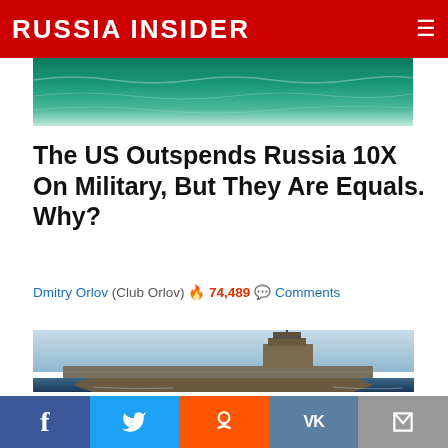RUSSIA INSIDER
[Figure (photo): Partial ocean/wave image at top of article]
The US Outspends Russia 10X On Military, But They Are Equals. Why?
Dmitry Orlov  (Club Orlov) 🔥 74,489 💬 Comments
[Figure (photo): Photograph of a US Navy aircraft carrier at sea, viewed from the front-left angle, with blue sky and ocean]
Russian Missile Tech has Made America's Trillion
Social share bar: Facebook, Twitter, Reddit, VK, Email